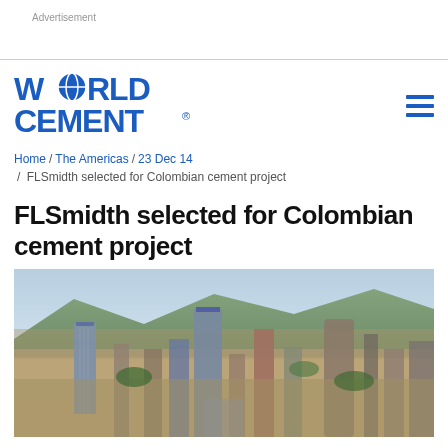Advertisement
[Figure (logo): World Cement logo in blue with globe icon replacing the 'O' in WORLD]
Home / The Americas / 23 Dec 14 / FLSmidth selected for Colombian cement project
FLSmidth selected for Colombian cement project
[Figure (photo): Aerial view of a dense South American city (Bogotá, Colombia) with tall skyscrapers, urban sprawl, and mountains in the background]